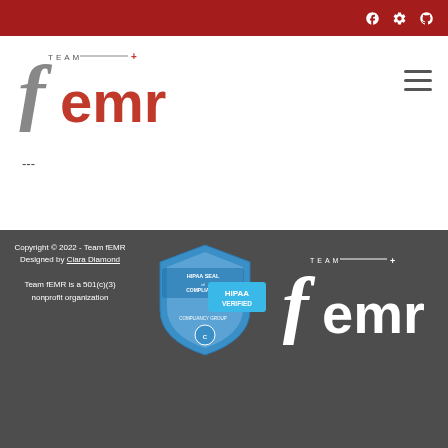[Figure (logo): Top navigation bar with Facebook, plugin/gear, and GitHub icons on dark red background]
[Figure (logo): Team fEMR logo - large stylized f in red with 'emr' text and 'TEAM +' above]
[Figure (other): Hamburger menu icon (three horizontal lines)]
---
Copyright © 2022 - Team fEMR Designed by Ciara Diamond

Team fEMR is a 501(c)(3) nonprofit organization
[Figure (logo): HIPAA Seal of Compliance badge - HIPAA VERIFIED shield badge from Compliancy Group]
[Figure (logo): Team fEMR white logo on dark background]